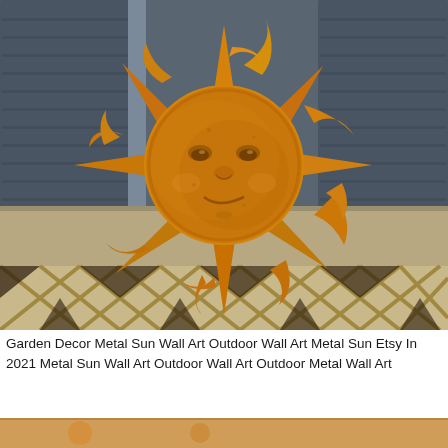[Figure (photo): A decorative metal sun wall art piece with a face in the center, featuring pointed and curled rays radiating outward. The sun is painted in warm orange, yellow, and copper tones and is mounted against a dark gray wooden fence/shutters background with a wooden lattice fence visible at the bottom.]
Garden Decor Metal Sun Wall Art Outdoor Wall Art Metal Sun Etsy In 2021 Metal Sun Wall Art Outdoor Wall Art Outdoor Metal Wall Art
[Figure (photo): Partial bottom strip showing another decorative item, partially visible.]